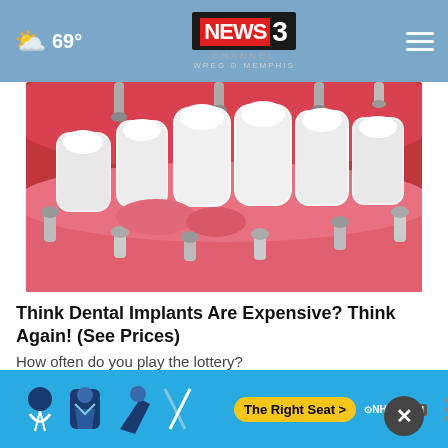69° NEWS CHANNEL 3 WREG MEMPHIS
[Figure (photo): 3D illustration of dental implants with white teeth and metal screw implants embedded in pink gums, viewed from inside the mouth]
Think Dental Implants Are Expensive? Think Again! (See Prices)
Dental Implants | Sponsored
[Figure (photo): NHTSA advertisement banner with blue background showing safety seat icons and 'The Right Seat >' call to action button in yellow]
How often do you play the lottery?